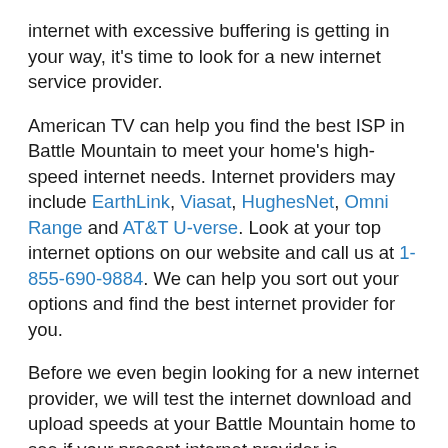internet with excessive buffering is getting in your way, it's time to look for a new internet service provider.
American TV can help you find the best ISP in Battle Mountain to meet your home's high-speed internet needs. Internet providers may include EarthLink, Viasat, HughesNet, Omni Range and AT&T U-verse. Look at your top internet options on our website and call us at 1-855-690-9884. We can help you sort out your options and find the best internet provider for you.
Before we even begin looking for a new internet provider, we will test the internet download and upload speeds at your Battle Mountain home to see if your present internet provider is delivering what you pay for. Your speed test will also provide readings on network latency and jitter to see if you